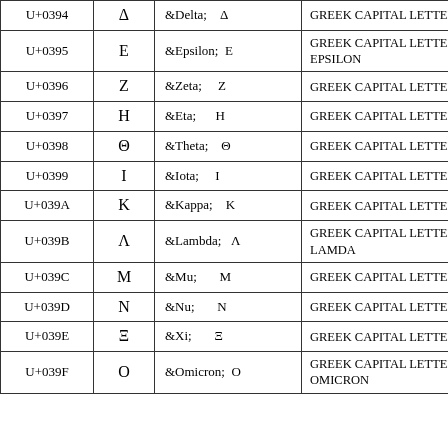| Code | Char | Entity | Name |
| --- | --- | --- | --- |
| U+0394 | Δ | &Delta;    Δ | GREEK CAPITAL LETTER DELTA |
| U+0395 | E | &Epsilon;  E | GREEK CAPITAL LETTER EPSILON |
| U+0396 | Z | &Zeta;     Z | GREEK CAPITAL LETTER ZETA |
| U+0397 | H | &Eta;      H | GREEK CAPITAL LETTER ETA |
| U+0398 | Θ | &Theta;    Θ | GREEK CAPITAL LETTER THETA |
| U+0399 | I | &Iota;     I | GREEK CAPITAL LETTER IOTA |
| U+039A | K | &Kappa;    K | GREEK CAPITAL LETTER KAPPA |
| U+039B | Λ | &Lambda;   Λ | GREEK CAPITAL LETTER LAMDA |
| U+039C | M | &Mu;       M | GREEK CAPITAL LETTER MU |
| U+039D | N | &Nu;       N | GREEK CAPITAL LETTER NU |
| U+039E | Ξ | &Xi;       Ξ | GREEK CAPITAL LETTER XI |
| U+039F | O | &Omicron;  O | GREEK CAPITAL LETTER OMICRON |